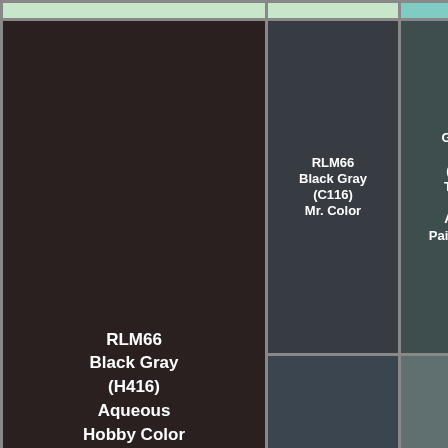| Color Swatch | Mr. Color | Tamiya | Vallejo | Vallejo Model Color |
| --- | --- | --- | --- | --- |
| RLM66 Black Gray (H416) Aqueous Hobby Color | RLM66 Black Gray (C116) Mr. Color | German Gray (XF63) Tamiya Color Acrylic Paints (Flat) | Grey Green (70.866) Vallejo Model Color | Black RLM (71.0) Vallejo Model Color |
|  | Tank Grey (solid matt) (32178) Revell Email Enamel | Schwarzgrau RLM66 (4779) Testors Model Master Acrylic | Schwarzgrau RLM66 (F) (2079) Testors Model Master Enamel | Dark G RLM (UA1) Lifecycle |
|  | RLM74 Gray Green (N68) Acrysion | Graugrün RLM 74 (4784AP) Italeri | German Grey (XF-63) Tamiya Enamel | Germ Gra (LP2) Tamiya Lacq Pai |
|  | GERMAN GREY |  |  |  |